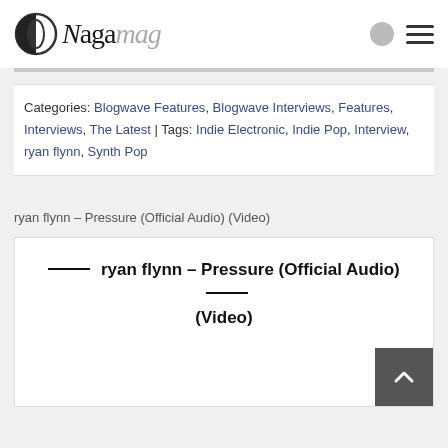NagaMag
Categories: Blogwave Features, Blogwave Interviews, Features, Interviews, The Latest | Tags: Indie Electronic, Indie Pop, Interview, ryan flynn, Synth Pop
ryan flynn – Pressure (Official Audio) (Video)
[Figure (screenshot): Embedded video player placeholder showing title: ryan flynn – Pressure (Official Audio) (Video)]